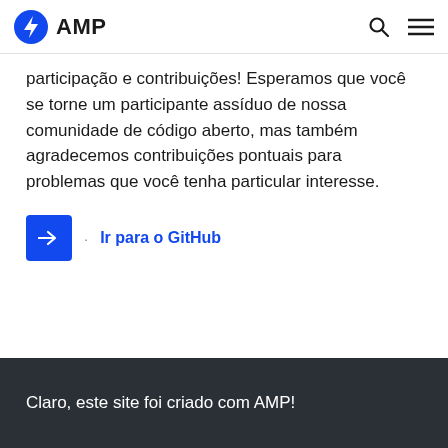AMP
participação e contribuições! Esperamos que você se torne um participante assíduo de nossa comunidade de código aberto, mas também agradecemos contribuições pontuais para problemas que você tenha particular interesse.
Ir para o GitHub
Claro, este site foi criado com AMP!